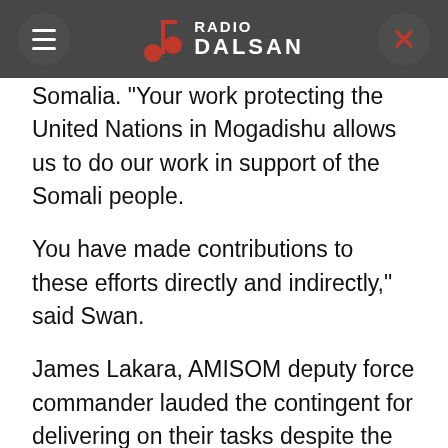RADIO DALSAN
Somalia. "Your work protecting the United Nations in Mogadishu allows us to do our work in support of the Somali people.
You have made contributions to these efforts directly and indirectly," said Swan.
James Lakara, AMISOM deputy force commander lauded the contingent for delivering on their tasks despite the challenges they faced. "This contingent has delivered on its tasks and I take this opportunity to congratulate members of UNGU 5 for a job well done," said Lakara.
The UNGU troops provide protection to UN civilian personnel, UN facilities and installations